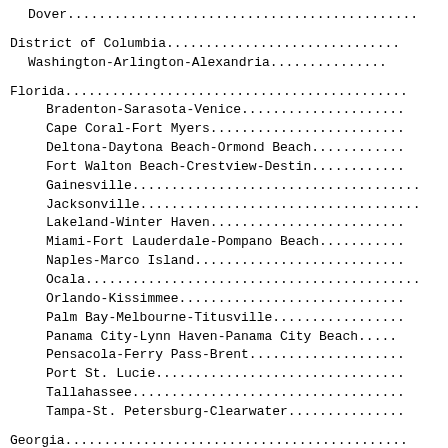Dover.............................................
District of Columbia..............................
Washington-Arlington-Alexandria.................
Florida...........................................
Bradenton-Sarasota-Venice.......................
Cape Coral-Fort Myers...........................
Deltona-Daytona Beach-Ormond Beach..............
Fort Walton Beach-Crestview-Destin..............
Gainesville.....................................
Jacksonville....................................
Lakeland-Winter Haven...........................
Miami-Fort Lauderdale-Pompano Beach.............
Naples-Marco Island.............................
Ocala...........................................
Orlando-Kissimmee...............................
Palm Bay-Melbourne-Titusville...................
Panama City-Lynn Haven-Panama City Beach........
Pensacola-Ferry Pass-Brent......................
Port St. Lucie..................................
Tallahassee.....................................
Tampa-St. Petersburg-Clearwater.................
Georgia...........................................
Albany..........................................
Atlanta-Sandy Springs-...